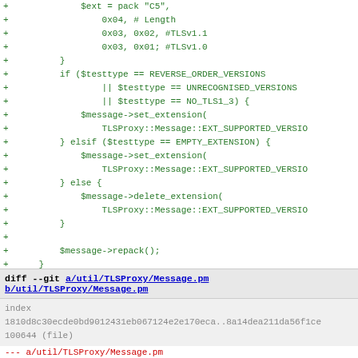Code diff showing TLS proxy message extension handling in Perl
diff --git a/util/TLSProxy/Message.pm b/util/TLSProxy/Message.pm
index 1810d8c30ecde0bd9012431eb067124e2e170eca..8a14dea211da56f1ce
100644 (file)
--- a/util/TLSProxy/Message.pm
+++ b/util/TLSProxy/Message.pm